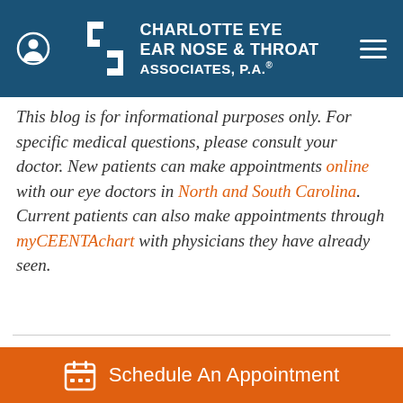Charlotte Eye Ear Nose & Throat Associates, P.A.
This blog is for informational purposes only. For specific medical questions, please consult your doctor. New patients can make appointments online with our eye doctors in North and South Carolina. Current patients can also make appointments through myCEENTAchart with physicians they have already seen.
Schedule An Appointment